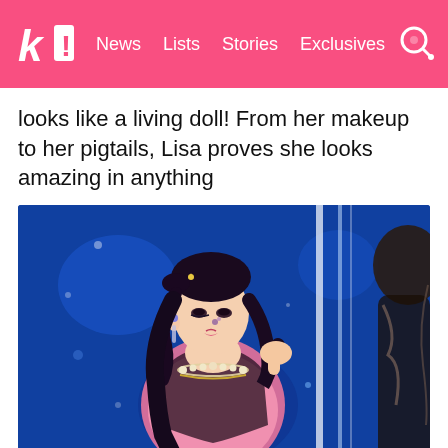k! News Lists Stories Exclusives
looks like a living doll! From her makeup to her pigtails, Lisa proves she looks amazing in anything
[Figure (photo): Lisa from BLACKPINK performing on stage wearing a pink sequined top and black lace overlay with pearl necklaces, styled with pigtails, against a blue-lit background with vertical light strips]